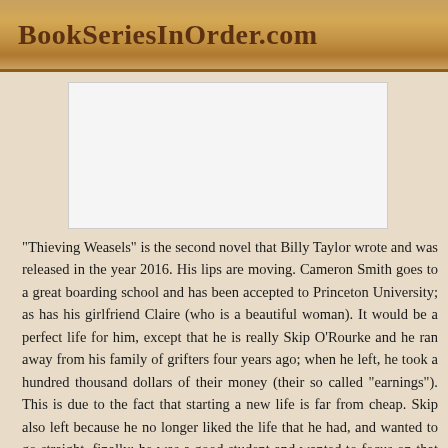BookSeriesInOrder.com
[Figure (other): White rectangular advertisement placeholder area]
“Thieving Weasels” is the second novel that Billy Taylor wrote and was released in the year 2016. His lips are moving. Cameron Smith goes to a great boarding school and has been accepted to Princeton University; as has his girlfriend Claire (who is a beautiful woman). It would be a perfect life for him, except that he is really Skip O’Rourke and he ran away from his family of grifters four years ago; when he left, he took a hundred thousand dollars of their money (their so called “earnings”). This is due to the fact that starting a new life is far from cheap. Skip also left because he no longer liked the life that he had, and wanted to go straight, finally; he was a good student and wanted to focus on that and not taking people for a ride. His uncle Wonderful comes and finds him, telling him that he has two options: he can help them to pull off one last con, or he outed as Skip